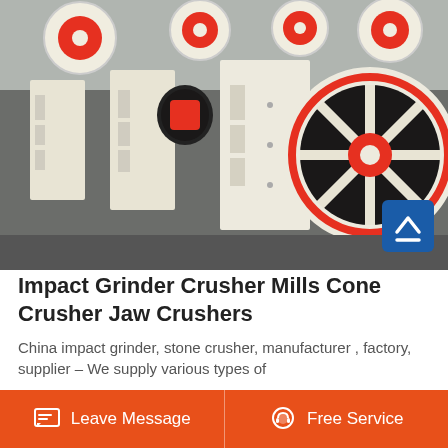[Figure (photo): Industrial jaw crushers lined up in a factory, painted cream/white with red and black flywheels. Multiple units visible in a row inside a large industrial warehouse.]
Impact Grinder Crusher Mills Cone Crusher Jaw Crushers
China impact grinder, stone crusher, manufacturer , factory, supplier – We supply various types of
Leave Message   Free Service